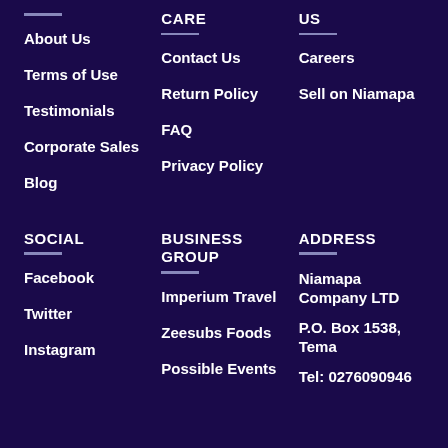CARE
US
About Us
Terms of Use
Testimonials
Corporate Sales
Blog
Contact Us
Return Policy
FAQ
Privacy Policy
Careers
Sell on Niamapa
SOCIAL
BUSINESS GROUP
ADDRESS
Facebook
Twitter
Instagram
Imperium Travel
Zeesubs Foods
Possible Events
Niamapa Company LTD
P.O. Box 1538, Tema
Tel: 0276090946